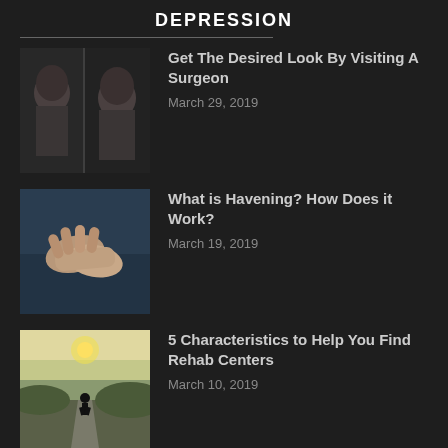DEPRESSION
Get The Desired Look By Visiting A Surgeon
March 29, 2019
What is Havening? How Does it Work?
March 19, 2019
5 Characteristics to Help You Find Rehab Centers
March 10, 2019
© 2022 All Rights Reserved